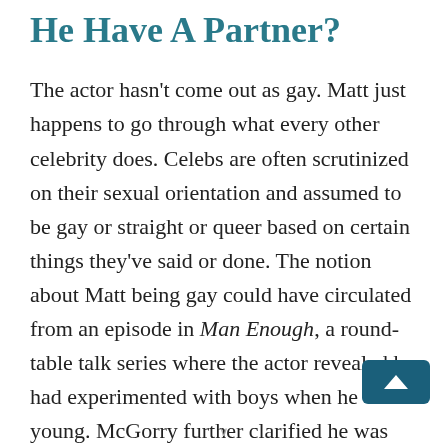He Have A Partner?
The actor hasn't come out as gay. Matt just happens to go through what every other celebrity does. Celebs are often scrutinized on their sexual orientation and assumed to be gay or straight or queer based on certain things they've said or done. The notion about Matt being gay could have circulated from an episode in Man Enough, a round-table talk series where the actor revealed he had experimented with boys when he was young. McGorry further clarified he was straight but back then, he just wanted to try things. You